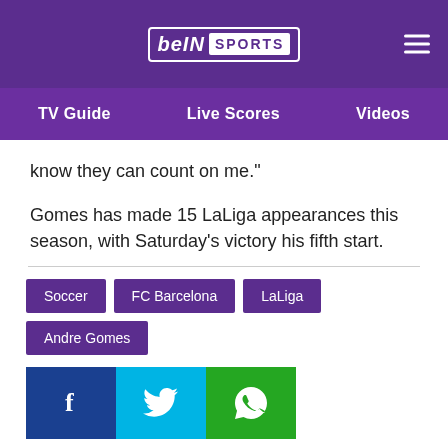beIN SPORTS — TV Guide | Live Scores | Videos
know they can count on me."
Gomes has made 15 LaLiga appearances this season, with Saturday's victory his fifth start.
Soccer
FC Barcelona
LaLiga
Andre Gomes
[Figure (other): Social share buttons: Facebook, Twitter, WhatsApp]
[Figure (other): Related article thumbnail: Griezmann Aims to Settle Atletico Madrid Future Before World Cup]
[Figure (other): Related article thumbnail: Griezmann and Ronaldo Share the Spoils in Madrid Derby]